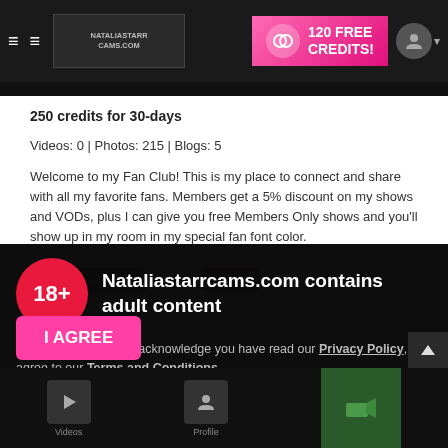120 FREE CREDITS!
250 credits for 30-days
Videos: 0 | Photos: 215 | Blogs: 5
Welcome to my Fan Club! This is my place to connect and share with all my favorite fans. Members get a 5% discount on my shows and VODs, plus I can give you free Members Only shows and you'll show up in my room in my special fan font color.
[Figure (screenshot): Adult content age gate overlay with 18+ badge, site name Nataliastarrcams.com, privacy policy text, cookie notice, and I AGREE button]
Nataliastarrcams.com contains adult content
By using the site, you acknowledge you have read our Privacy Policy, and agree to our Terms and Conditions.
We use cookies to optimize your experience, analyze traffic, and deliver more personalized service. To learn more, please see our Privacy Policy.